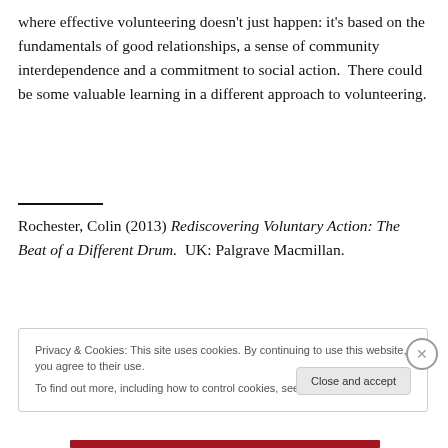where effective volunteering doesn't just happen: it's based on the fundamentals of good relationships, a sense of community interdependence and a commitment to social action.  There could be some valuable learning in a different approach to volunteering.
Rochester, Colin (2013) Rediscovering Voluntary Action: The Beat of a Different Drum.  UK: Palgrave Macmillan.
Privacy & Cookies: This site uses cookies. By continuing to use this website, you agree to their use.
To find out more, including how to control cookies, see here: Cookie Policy